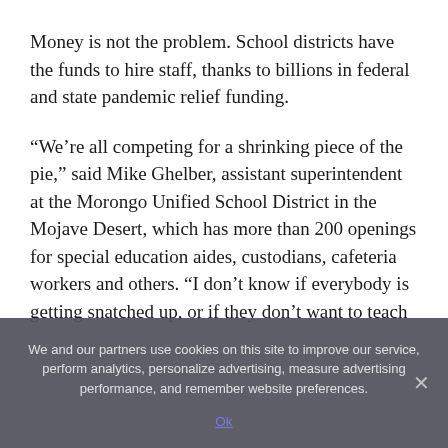Money is not the problem. School districts have the funds to hire staff, thanks to billions in federal and state pandemic relief funding.
“We’re all competing for a shrinking piece of the pie,” said Mike Ghelber, assistant superintendent at the Morongo Unified School District in the Mojave Desert, which has more than 200 openings for special education aides, custodians, cafeteria workers and others. “I don’t know if everybody is getting snatched up, or if they don’t want to teach
We and our partners use cookies on this site to improve our service, perform analytics, personalize advertising, measure advertising performance, and remember website preferences.
Ok